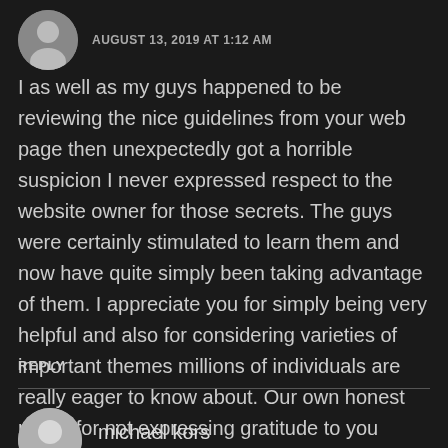AUGUST 13, 2019 AT 1:12 AM
I as well as my guys happened to be reviewing the nice guidelines from your web page then unexpectedly got a horrible suspicion I never expressed respect to the website owner for those secrets. The guys were certainly stimulated to learn them and now have quite simply been taking advantage of them. I appreciate you for simply being very helpful and also for considering varieties of important themes millions of individuals are really eager to know about. Our own honest regret for not expressing gratitude to you earlier.
REPLY
michael kors
AUGUST 14, 2019 AT 12:27 AM